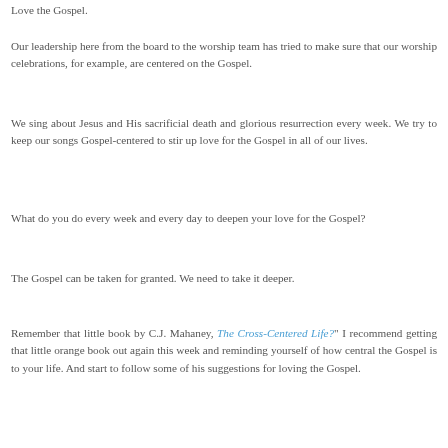Love the Gospel.
Our leadership here from the board to the worship team has tried to make sure that our worship celebrations, for example, are centered on the Gospel.
We sing about Jesus and His sacrificial death and glorious resurrection every week. We try to keep our songs Gospel-centered to stir up love for the Gospel in all of our lives.
What do you do every week and every day to deepen your love for the Gospel?
The Gospel can be taken for granted. We need to take it deeper.
Remember that little book by C.J. Mahaney, The Cross-Centered Life?" I recommend getting that little orange book out again this week and reminding yourself of how central the Gospel is to your life. And start to follow some of his suggestions for loving the Gospel.